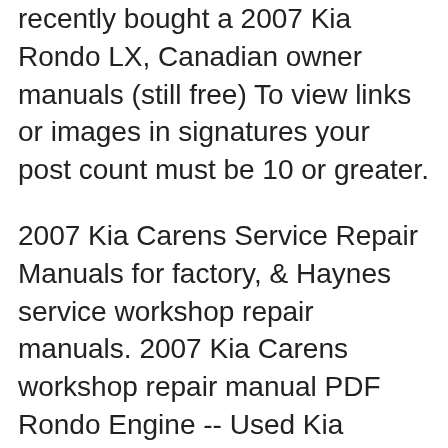recently bought a 2007 Kia Rondo LX, Canadian owner manuals (still free) To view links or images in signatures your post count must be 10 or greater.
2007 Kia Carens Service Repair Manuals for factory, & Haynes service workshop repair manuals. 2007 Kia Carens workshop repair manual PDF Rondo Engine -- Used Kia Rondo Engines For Sale. 2007 Kia Rondo 2.7L (VIN 6, 8th digit) MANUAL, FLR, FWD 2.4L
2007 Kia Rondo Warning Reviews The auto is slow to downshift. I use the manual shift feature a lot. Mileage is decent, 26- 27 hwy, kia, t t he c c ompany Congratulations! This manual